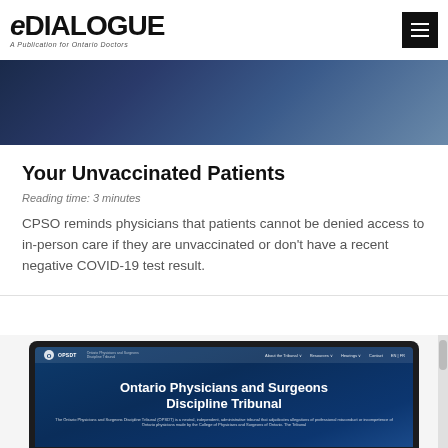[Figure (logo): eDIALOGUE logo — A Publication for Ontario Doctors]
[Figure (photo): Dark blue-toned hero image, partially visible at top of article card]
Your Unvaccinated Patients
Reading time: 3 minutes
CPSO reminds physicians that patients cannot be denied access to in-person care if they are unvaccinated or don't have a recent negative COVID-19 test result.
[Figure (screenshot): Laptop screenshot showing the Ontario Physicians and Surgeons Discipline Tribunal (OPSDT) website with the heading 'Ontario Physicians and Surgeons Discipline Tribunal' on a dark blue background]